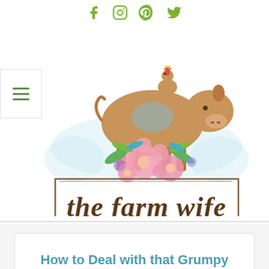[Figure (illustration): Social media icons: Facebook, Instagram, Pinterest, Twitter in olive/green color]
[Figure (logo): The Farm Wife logo - watercolor illustration of a brown cow with pink flowers and a chicken on top, with cursive text 'the farm wife' and subtitle 'LIVING A SIMPLE LIFE ON THE FARM' in a bordered rectangle]
How to Deal with that Grumpy